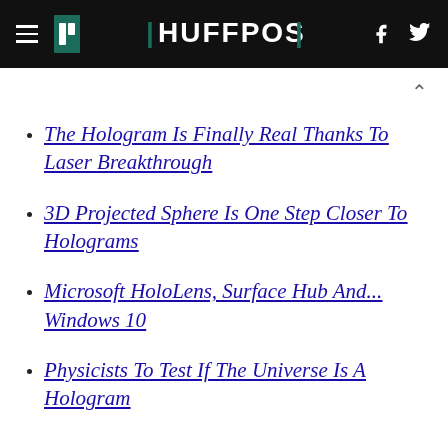HUFFPOST
The Hologram Is Finally Real Thanks To Laser Breakthrough
3D Projected Sphere Is One Step Closer To Holograms
Microsoft HoloLens, Surface Hub And... Windows 10
Physicists To Test If The Universe Is A Hologram